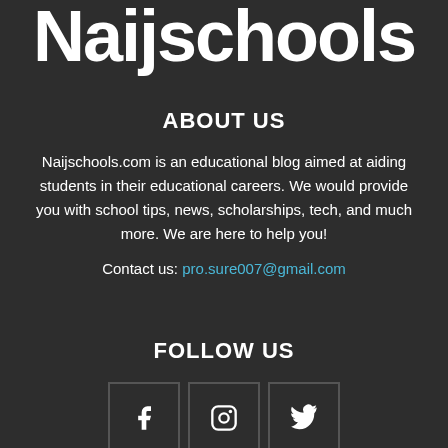Naijschools
ABOUT US
Naijschools.com is an educational blog aimed at aiding students in their educational careers. We would provide you with school tips, news, scholarships, tech, and much more. We are here to help you!
Contact us: pro.sure007@gmail.com
FOLLOW US
[Figure (other): Three social media icon boxes: Facebook (f), Instagram (camera icon), Twitter (bird icon)]